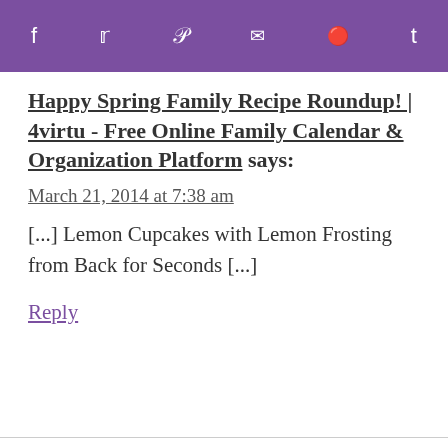f  t  p  ✉  r  t
Happy Spring Family Recipe Roundup! | 4virtu - Free Online Family Calendar & Organization Platform says:
March 21, 2014 at 7:38 am
[...] Lemon Cupcakes with Lemon Frosting from Back for Seconds [...]
Reply